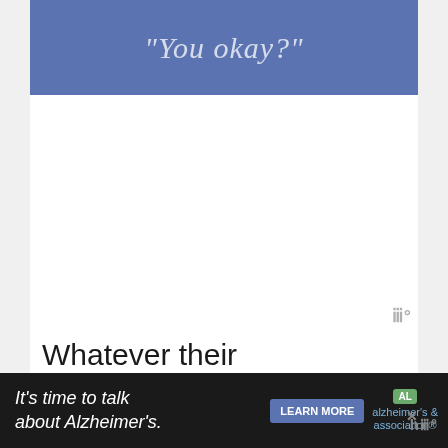[Figure (illustration): Blue banner with italic text reading “You okay?” in light/muted white lettering on a steel-blue background]
Whatever their background, the people of this country strive for the best schooling they can get. An
[Figure (infographic): Advertisement banner: dark background with white text 'It’s time to talk about Alzheimer’s.' with a Learn More button and Alzheimer's Association logo]